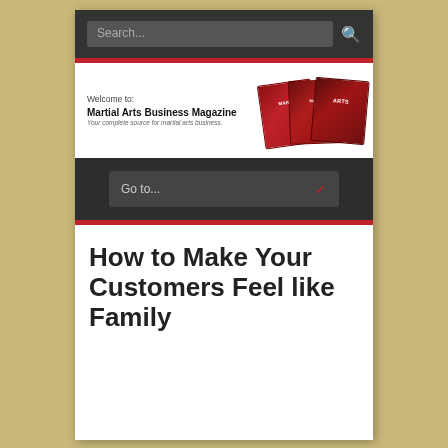Search...
[Figure (logo): Martial Arts Business Magazine logo with magazine covers stacked]
Welcome to:
Martial Arts Business Magazine
Your complete source for martial arts business.
Go to...
How to Make Your Customers Feel like Family